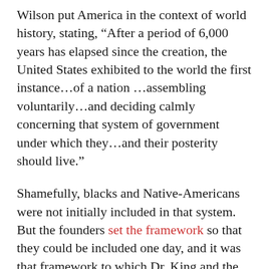Wilson put America in the context of world history, stating, “After a period of 6,000 years has elapsed since the creation, the United States exhibited to the world the first instance…of a nation …assembling voluntarily…and deciding calmly concerning that system of government under which they…and their posterity should live.”
Shamefully, blacks and Native-Americans were not initially included in that system. But the founders set the framework so that they could be included one day, and it was that framework to which Dr. King and the civil rights movement successfully and movingly appealed.